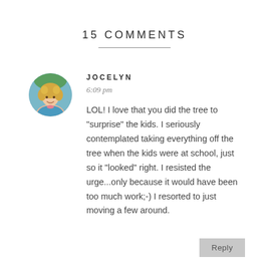15 COMMENTS
[Figure (photo): Circular avatar photo of a woman with curly blonde hair wearing a blue top, outdoors background]
JOCELYN
6:09 pm
LOL! I love that you did the tree to "surprise" the kids. I seriously contemplated taking everything off the tree when the kids were at school, just so it "looked" right. I resisted the urge...only because it would have been too much work;-) I resorted to just moving a few around.
Reply